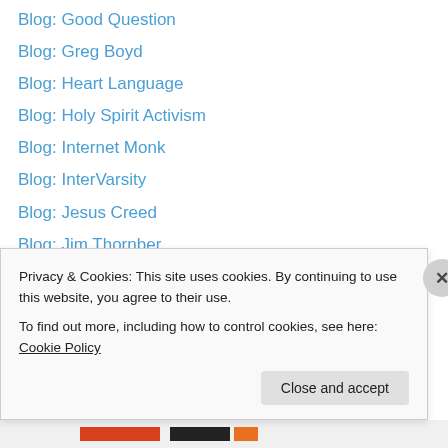Blog: Good Question
Blog: Greg Boyd
Blog: Heart Language
Blog: Holy Spirit Activism
Blog: Internet Monk
Blog: InterVarsity
Blog: Jesus Creed
Blog: Jim Thornber
Blog: Jonathan McKee Writes
Blog: Karen Spears Zacharias
Blog: Kathy Escobar
Blog: Koinonia
Blog: KoyuaNet
Blog: Learning My Lines
Privacy & Cookies: This site uses cookies. By continuing to use this website, you agree to their use. To find out more, including how to control cookies, see here: Cookie Policy
Close and accept